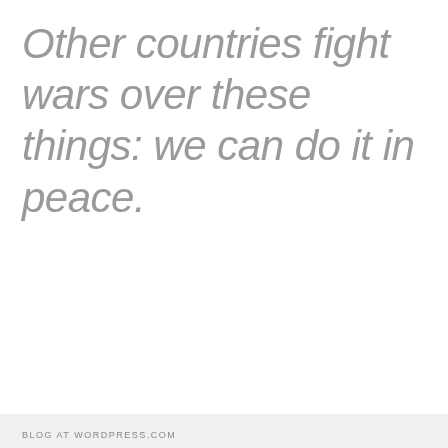Other countries fight wars over these things: we can do it in peace.
BLOG AT WORDPRESS.COM